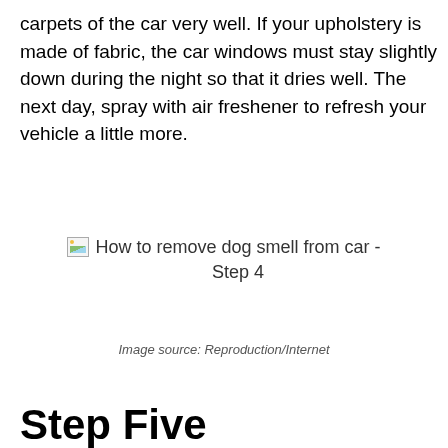carpets of the car very well. If your upholstery is made of fabric, the car windows must stay slightly down during the night so that it dries well. The next day, spray with air freshener to refresh your vehicle a little more.
[Figure (photo): Broken/missing image placeholder with alt text: How to remove dog smell from car - Step 4]
Image source: Reproduction/Internet
Step Five